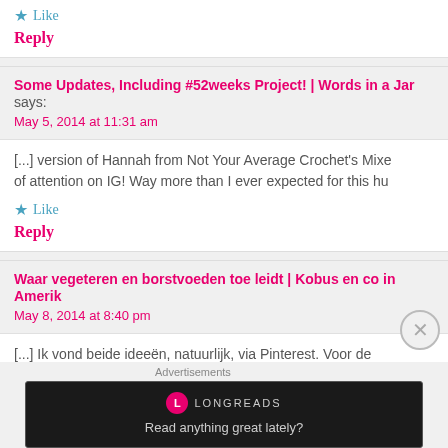★ Like
Reply
Some Updates, Including #52weeks Project! | Words in a Jar says:
May 5, 2014 at 11:31 am
[...] version of Hannah from Not Your Average Crochet's Mixe of attention on IG! Way more than I ever expected for this hu
★ Like
Reply
Waar vegeteren en borstvoeden toe leidt | Kobus en co in Amerik
May 8, 2014 at 8:40 pm
[...] Ik vond beide ideeën, natuurlijk, via Pinterest. Voor de
Advertisements
[Figure (screenshot): Longreads advertisement banner with logo and tagline 'Read anything great lately?']